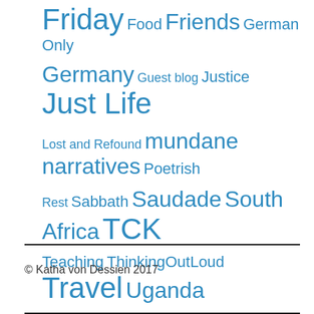[Figure (infographic): Tag cloud with various blog category tags in different sizes, all in blue. Tags: Friday (XL), Food (MD), Friends (LG), German Only (MD), Germany (LG), Guest blog (SM), Justice (MD), Just Life (XL), Lost and Refound (SM), mundane narratives (LG), Poetrish (MD), Rest (SM), Sabbath (MD), Saudade (LG), South Africa (LG), TCK (XL), Teaching (MD), ThinkingOutLoud (MD), Travel (XL), Uganda (LG), Uncategorized (MD), USA (LG), Writing (XL)]
© Katha von Dessien 2017